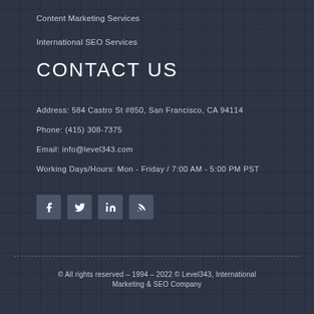Content Marketing Services
International SEO Services
CONTACT US
Address: 584 Castro St #850, San Francisco, CA 94114
Phone: (415) 308-7375
Email: info@level343.com
Working Days/Hours: Mon - Friday / 7:00 AM - 5:00 PM PST
[Figure (infographic): Social media icons: Facebook, Twitter, LinkedIn, RSS feed]
© All rights reserved – 1994 – 2022 © Level343, International Marketing & SEO Company